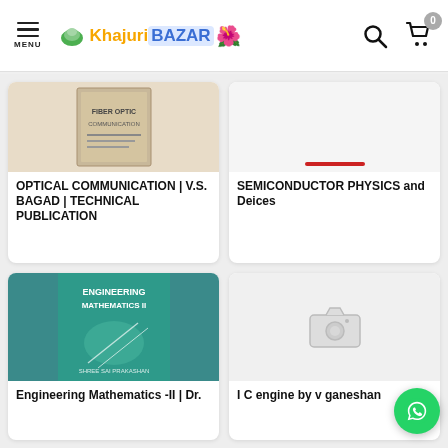Khajuri Bazar - MENU | Search | Cart (0)
OPTICAL COMMUNICATION | V.S. BAGAD | TECHNICAL PUBLICATION
SEMICONDUCTOR PHYSICS and Deices
[Figure (photo): Book cover of Engineering Mathematics II by Shree Sai Prakashan]
Engineering Mathematics -II | Dr. ...
[Figure (photo): Placeholder camera icon for I C engine by v ganeshan]
I C engine by v ganeshan